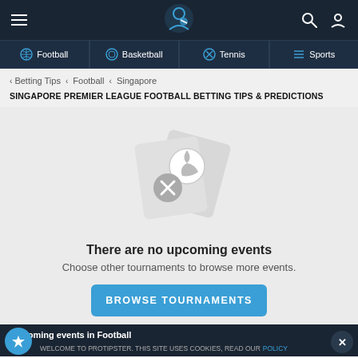Protipster navigation header with hamburger menu, logo, search and profile icons
Football | Basketball | Tennis | Sports
< Betting Tips < Football < Singapore
SINGAPORE PREMIER LEAGUE FOOTBALL BETTING TIPS & PREDICTIONS
[Figure (illustration): No upcoming events illustration showing overlapping betting slip cards with a football and a red X circle icon]
There are no upcoming events
Choose other tournaments to browse more events.
BROWSE TOURNAMENTS
Upcoming events in Football
WELCOME TO PROTIPSTER. THIS SITE USES COOKIES, READ OUR POLICY